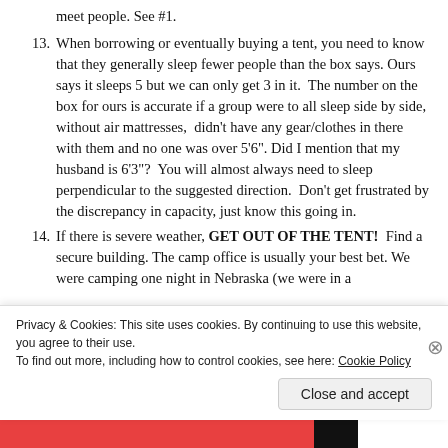meet people. See #1.
13. When borrowing or eventually buying a tent, you need to know that they generally sleep fewer people than the box says. Ours says it sleeps 5 but we can only get 3 in it.  The number on the box for ours is accurate if a group were to all sleep side by side, without air mattresses,  didn't have any gear/clothes in there with them and no one was over 5‘6”. Did I mention that my husband is 6‘3”?  You will almost always need to sleep perpendicular to the suggested direction.  Don't get frustrated by the discrepancy in capacity, just know this going in.
14. If there is severe weather, GET OUT OF THE TENT!  Find a secure building. The camp office is usually your best bet. We were camping one night in Nebraska (we were in a
Privacy & Cookies: This site uses cookies. By continuing to use this website, you agree to their use.
To find out more, including how to control cookies, see here: Cookie Policy